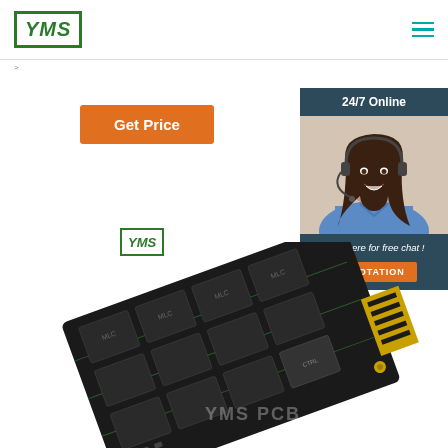[Figure (logo): YMS logo in green border square with italic bold text]
[Figure (other): Hamburger menu icon in teal color]
Get Price
[Figure (photo): Customer service representative with headset, 24/7 Online sidebar panel with QUOTATION button]
[Figure (logo): Small YMS logo in green border]
[Figure (photo): PCB expansion card (SSD or similar) shown at an angle with YMS PCB watermark]